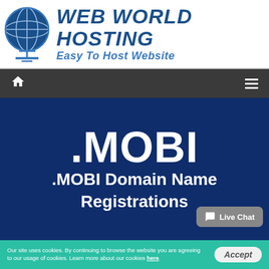[Figure (logo): Web World Hosting logo: globe icon on left, bold italic blue text 'WEB WORLD HOSTING' and subtitle 'Easy To Host Website']
Home navigation bar with home icon and hamburger menu icon
.MOBI
.MOBI Domain Name Registrations
Live Chat
Our site uses cookies. By continuing to browse the website you are agreeing to our usage of cookies. Learn more about our cookies here.
Accept